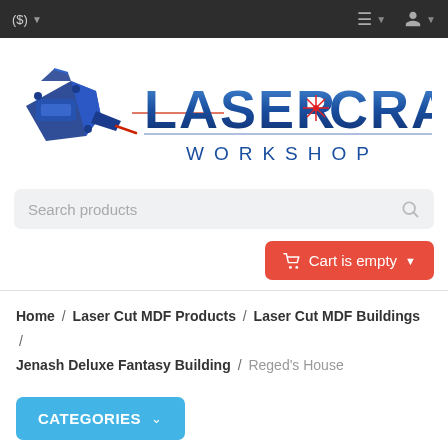($) ▼  ≡ ▼  👤 ▼
[Figure (logo): Laser Craft Workshop logo with blue metallic laser device icon on left and 'LASER CRAFT WORKSHOP' text in blue gradient with red star burst accent]
Search products
Cart is empty ▼
Home / Laser Cut MDF Products / Laser Cut MDF Buildings / Jenash Deluxe Fantasy Building / Reged's House
CATEGORIES ∨